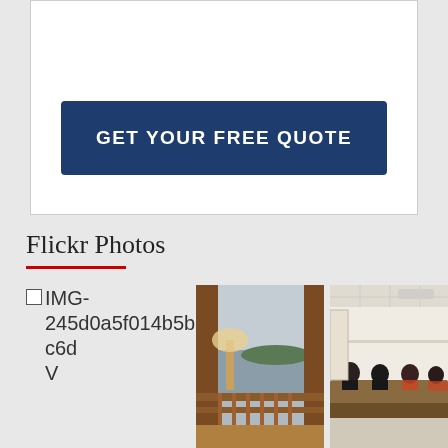[Figure (screenshot): White card area with a dark navy blue 'GET YOUR FREE QUOTE' call-to-action button]
Flickr Photos
[Figure (photo): View from a wooden balcony or room interior looking out to a bay with islands, overcast sky, with a lamp visible inside]
[Figure (photo): Conference room or meeting room scene with people seated at a long table]
IMG-245d0a5f014b5bc6d V